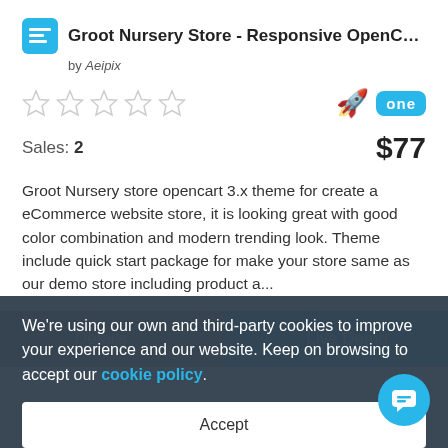Groot Nursery Store - Responsive OpenCart Te...
by Aeipix
Sales: 2   $77
Groot Nursery store opencart 3.x theme for create a eCommerce website store, it is looking great with good color combination and modern trending look. Theme include quick start package for make your store same as our demo store including product a...
We're using our own and third-party cookies to improve your experience and our website. Keep on browsing to accept our cookie policy.
Accept